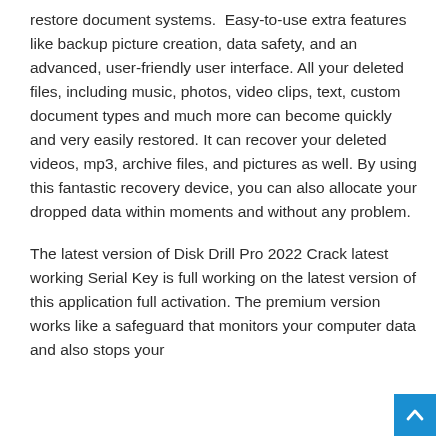restore document systems. Easy-to-use extra features like backup picture creation, data safety, and an advanced, user-friendly user interface. All your deleted files, including music, photos, video clips, text, custom document types and much more can become quickly and very easily restored. It can recover your deleted videos, mp3, archive files, and pictures as well. By using this fantastic recovery device, you can also allocate your dropped data within moments and without any problem.
The latest version of Disk Drill Pro 2022 Crack latest working Serial Key is full working on the latest version of this application full activation. The premium version works like a safeguard that monitors your computer data and also stops your